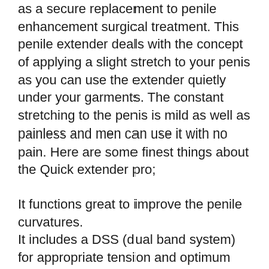as a secure replacement to penile enhancement surgical treatment. This penile extender deals with the concept of applying a slight stretch to your penis as you can use the extender quietly under your garments. The constant stretching to the penis is mild as well as painless and men can use it with no pain. Here are some finest things about the Quick extender pro;
It functions great to improve the penile curvatures.
It includes a DSS (dual band system) for appropriate tension and optimum comfort to the penis.
Non-invasive gains in penis length.
Resilient, lightweight and also needs no